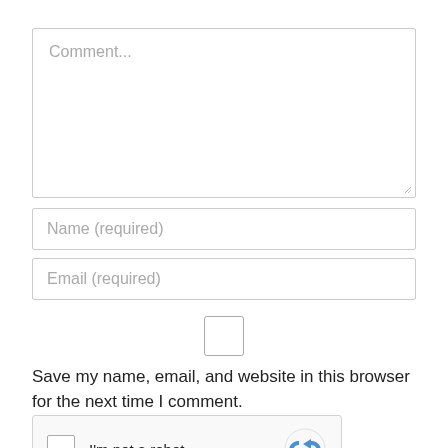Comment...
Name (required)
Email (required)
Save my name, email, and website in this browser for the next time I comment.
[Figure (other): reCAPTCHA widget with checkbox and 'I'm not a robot' label and Google reCAPTCHA logo]